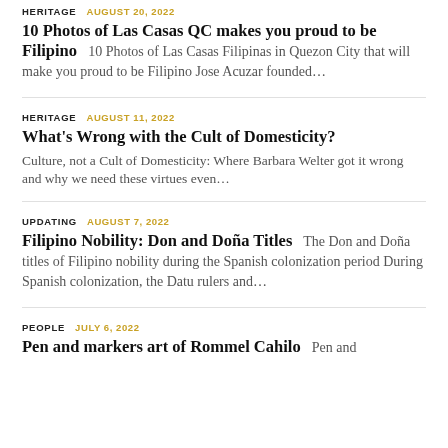HERITAGE | AUGUST 20, 2022 — 10 Photos of Las Casas QC makes you proud to be Filipino — 10 Photos of Las Casas Filipinas in Quezon City that will make you proud to be Filipino Jose Acuzar founded...
HERITAGE | AUGUST 11, 2022 — What's Wrong with the Cult of Domesticity? — Culture, not a Cult of Domesticity: Where Barbara Welter got it wrong and why we need these virtues even...
UPDATING | AUGUST 7, 2022 — Filipino Nobility: Don and Doña Titles — The Don and Doña titles of Filipino nobility during the Spanish colonization period During Spanish colonization, the Datu rulers and...
PEOPLE | JULY 6, 2022 — Pen and markers art of Rommel Cahilo — Pen and...